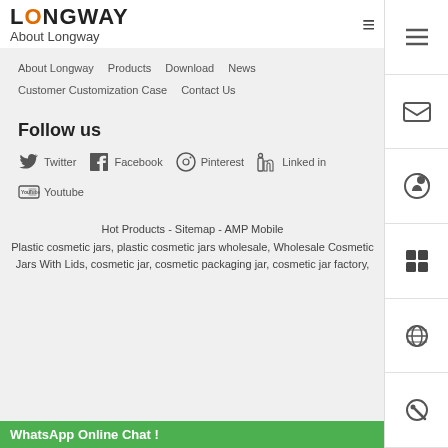Longway | About Longway
About Longway
Products
Download
News
Customer Customization Case
Contact Us
Follow us
Twitter
Facebook
Pinterest
Linked in
Youtube
Hot Products - Sitemap - AMP Mobile
Plastic cosmetic jars, plastic cosmetic jars wholesale, Wholesale Cosmetic Jars With Lids, cosmetic jar, cosmetic packaging jar, cosmetic jar factory,
WhatsApp Online Chat !